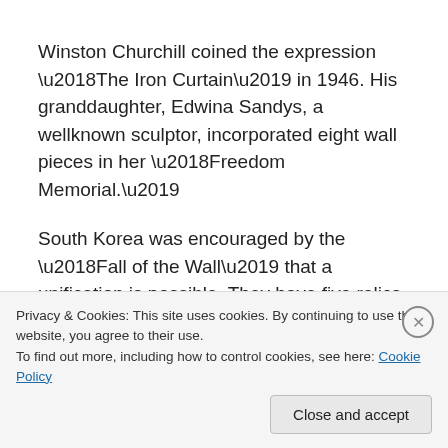Winston Churchill coined the expression ‘The Iron Curtain’ in 1946. His granddaughter, Edwina Sandys, a wellknown sculptor, incorporated eight wall pieces in her ‘Freedom Memorial.’
South Korea was encouraged by the ‘Fall of the Wall’ that a unification is possible. They have five relics of the Berlin Wall in their Theme Park in Uijeongbu, representing the [cut off]
Privacy & Cookies: This site uses cookies. By continuing to use this website, you agree to their use.
To find out more, including how to control cookies, see here: Cookie Policy
Close and accept